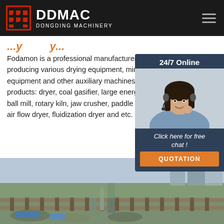DDMAC DONGDING MACHINERY
... y ... y ...
Fodamon is a professional manufacturer in producing various drying equipment, mining equipment and other auxiliary machines. Main products: dryer, coal gasifier, large energy saving ball mill, rotary kiln, jaw crusher, paddle dryer, air flow dryer, fluidization dryer and etc.
[Figure (photo): Customer service representative with headset - 24/7 Online chat widget with QUOTATION button]
[Figure (photo): Outdoor industrial/mining site photograph showing equipment and terrain]
Get Price
24/7 Online
Click here for free chat !
QUOTATION